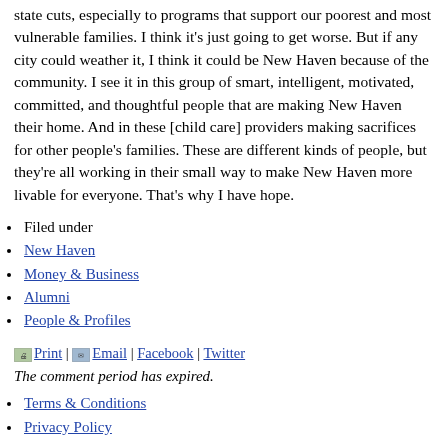state cuts, especially to programs that support our poorest and most vulnerable families. I think it's just going to get worse. But if any city could weather it, I think it could be New Haven because of the community. I see it in this group of smart, intelligent, motivated, committed, and thoughtful people that are making New Haven their home. And in these [child care] providers making sacrifices for other people's families. These are different kinds of people, but they're all working in their small way to make New Haven more livable for everyone. That's why I have hope.
Filed under
New Haven
Money & Business
Alumni
People & Profiles
Print | Email | Facebook | Twitter
The comment period has expired.
Terms & Conditions
Privacy Policy